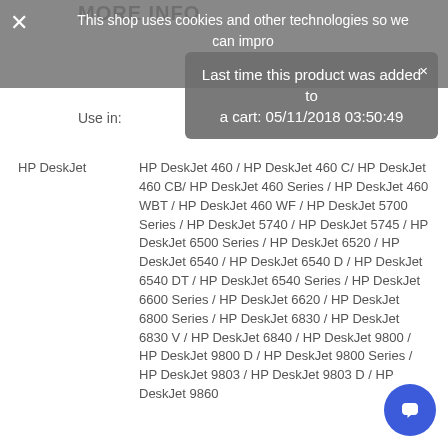MORE INFO
This shop uses cookies and other technologies so we can improve your experience on our sites.
Last time this product was added to a cart: 05/11/2018 03:50:49
Use in:
| HP DeskJet | HP DeskJet 460 / HP DeskJet 460 C/ HP DeskJet 460 CB/ HP DeskJet 460 Series / HP DeskJet 460 WBT / HP DeskJet 460 WF / HP DeskJet 5700 Series / HP DeskJet 5740 / HP DeskJet 5745 / HP DeskJet 6500 Series / HP DeskJet 6520 / HP DeskJet 6540 / HP DeskJet 6540 D / HP DeskJet 6540 DT / HP DeskJet 6540 Series / HP DeskJet 6600 Series / HP DeskJet 6620 / HP DeskJet 6800 Series / HP DeskJet 6830 / HP DeskJet 6830 V / HP DeskJet 6840 / HP DeskJet 9800 / HP DeskJet 9800 D / HP DeskJet 9800 Series / HP DeskJet 9803 / HP DeskJet 9803 D / HP DeskJet 9860 |